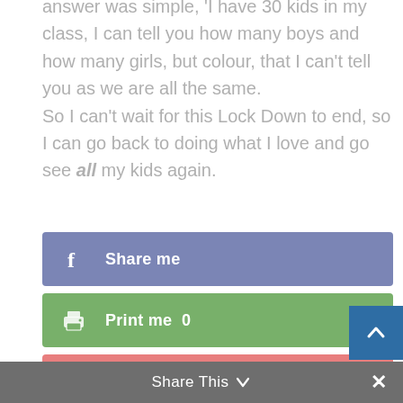answer was simple, 'I have 30 kids in my class, I can tell you how many boys and how many girls, but colour, that I can't tell you as we are all the same.
So I can't wait for this Lock Down to end, so I can go back to doing what I love and go see all my kids again.
[Figure (screenshot): Three social sharing buttons: Facebook 'Share me' (blue-purple), Print 'Print me 0' (green), Like 'Like me 0' (salmon/pink). A scroll-to-top button (dark blue) in bottom-right. A 'Share This' footer bar at the bottom in dark gray with a close (x) button.]